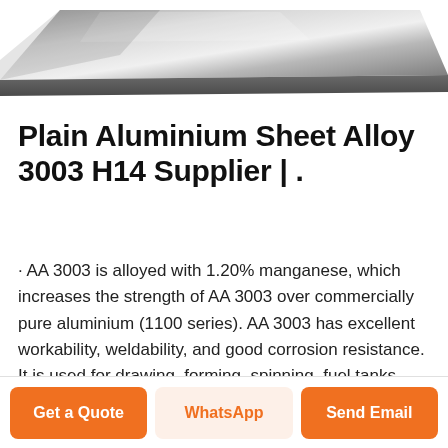[Figure (photo): Photo of a plain aluminium sheet, metallic grey surface, slightly reflective, viewed at an angle from above.]
Plain Aluminium Sheet Alloy 3003 H14 Supplier | .
· AA 3003 is alloyed with 1.20% manganese, which increases the strength of AA 3003 over commercially pure aluminium (1100 series). AA 3003 has excellent workability, weldability, and good corrosion resistance. It is used for drawing, forming, spinning, fuel tanks, sheet metal works and other applications that require moderate strength for an ...Aluminum Sheet and Coil - Series 3003-H14 · Aluminum Sheet and Coil - Series 3003-H14. 3003 is the most widely used of all aluminum alloys. It is essentially commercially pure aluminum with the addition of
Get a Quote
WhatsApp
Send Email